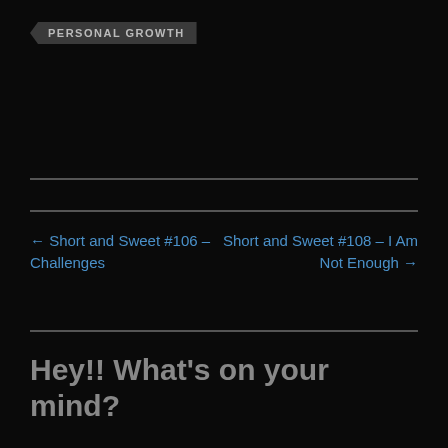PERSONAL GROWTH
← Short and Sweet #106 – Challenges
Short and Sweet #108 – I Am Not Enough →
Hey!! What's on your mind?
Your email address will not be published. Required fields are marked *
Comment *